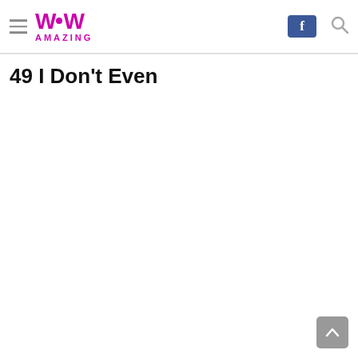WoW Amazing - navigation header with hamburger menu, logo, Facebook button, and search icon
49 I Don't Even